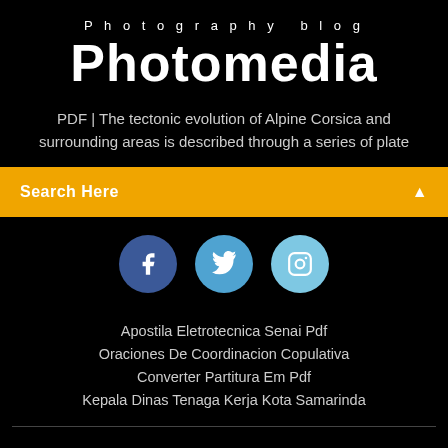Photography blog
Photomedia
PDF | The tectonic evolution of Alpine Corsica and surrounding areas is described through a series of plate
Search Here
[Figure (infographic): Three social media icon circles: Facebook (dark blue), Twitter (medium blue), Instagram (light blue)]
Apostila Eletrotecnica Senai Pdf
Oraciones De Coordinacion Copulativa
Converter Partitura Em Pdf
Kepala Dinas Tenaga Kerja Kota Samarinda